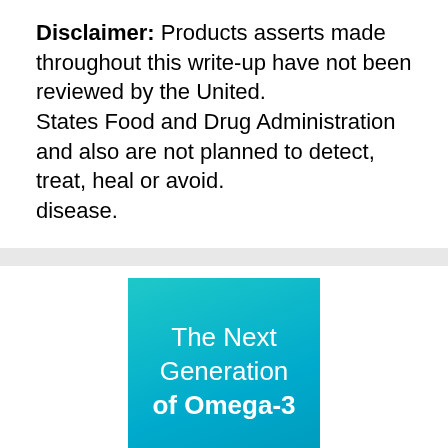Disclaimer: Products asserts made throughout this write-up have not been reviewed by the United. States Food and Drug Administration and also are not planned to detect, treat, heal or avoid. disease.
[Figure (illustration): Teal/cyan colored promotional box with white text reading 'The Next Generation of Omega-3' with a blue stripe at the bottom]